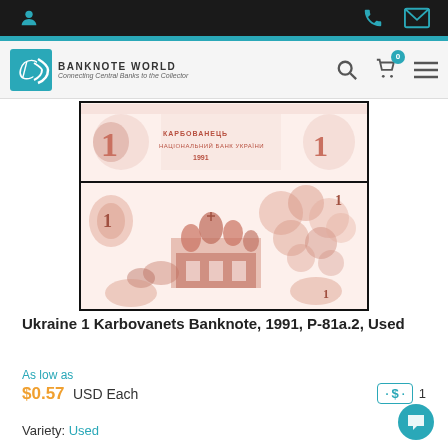Banknote World — Connecting Central Banks to the Collector
[Figure (photo): Ukraine 1 Karbovanets banknote front and back images (1991), shown in two panels: top panel shows front of note with text КАРБОВАНЕЦЬ НАЦІОНАЛЬНИЙ БАНК УКРАЇНИ 1991, bottom panel shows back of note with an illustration of a Ukrainian Orthodox church and ornate decorative design in reddish-brown ink.]
Ukraine 1 Karbovanets Banknote, 1991, P-81a.2, Used
As low as
$0.57 USD Each
Variety: Used